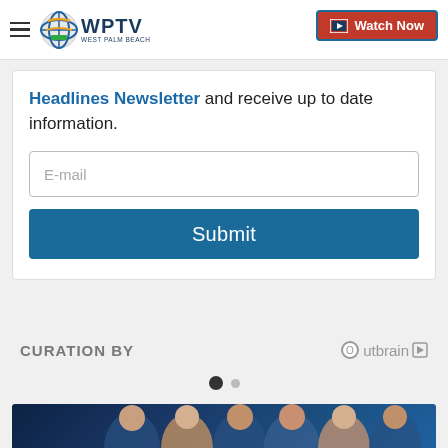WPTV West Palm Beach | Watch Now
Headlines Newsletter and receive up to date information.
E-mail
Submit
CURATION BY
[Figure (logo): Outbrain logo with circular icon and forward arrow]
[Figure (photo): Group photo of news anchors against blue background]